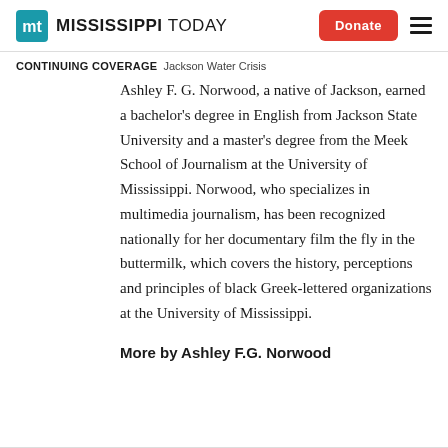MISSISSIPPI TODAY — Donate
CONTINUING COVERAGE  Jackson Water Crisis
Ashley F. G. Norwood, a native of Jackson, earned a bachelor's degree in English from Jackson State University and a master's degree from the Meek School of Journalism at the University of Mississippi. Norwood, who specializes in multimedia journalism, has been recognized nationally for her documentary film the fly in the buttermilk, which covers the history, perceptions and principles of black Greek-lettered organizations at the University of Mississippi.
More by Ashley F.G. Norwood